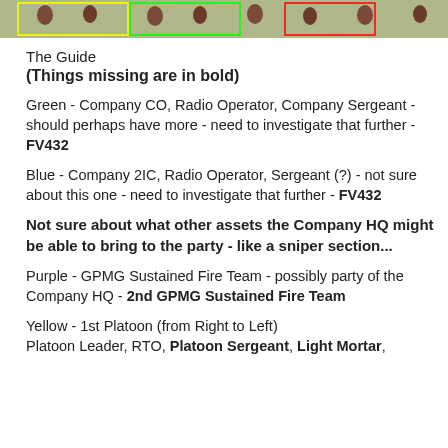[Figure (photo): A strip photo showing miniature figurines on a green grid surface with colored bounding boxes (yellow, green, red) overlaid.]
The Guide
(Things missing are in bold)
Green - Company CO, Radio Operator, Company Sergeant - should perhaps have more - need to investigate that further - FV432
Blue - Company 2IC, Radio Operator, Sergeant (?) - not sure about this one - need to investigate that further - FV432
Not sure about what other assets the Company HQ might be able to bring to the party - like a sniper section...
Purple - GPMG Sustained Fire Team - possibly party of the Company HQ - 2nd GPMG Sustained Fire Team
Yellow - 1st Platoon (from Right to Left)
Platoon Leader, RTO, Platoon Sergeant, Light Mortar,